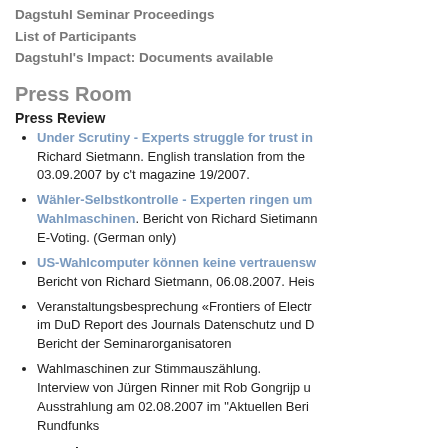Dagstuhl Seminar Proceedings
List of Participants
Dagstuhl's Impact: Documents available
Press Room
Press Review
Under Scrutiny - Experts struggle for trust in... Richard Sietmann. English translation from the 03.09.2007 by c't magazine 19/2007.
Wähler-Selbstkontrolle - Experten ringen um Wahlmaschinen. Bericht von Richard Sietmann E-Voting. (German only)
US-Wahlcomputer können keine vertrauensw... Bericht von Richard Sietmann, 06.08.2007. Heis
Veranstaltungsbesprechung «Frontiers of Electr... im DuD Report des Journals Datenschutz und D... Bericht der Seminarorganisatoren
Wahlmaschinen zur Stimmauszählung. Interview von Jürgen Rinner mit Rob Gongrijp u... Ausstrahlung am 02.08.2007 im "Aktuellen Beri... Rundfunks
Press Release
Die Grenzen von elektronischen Wahlen 17.07.07(German only)